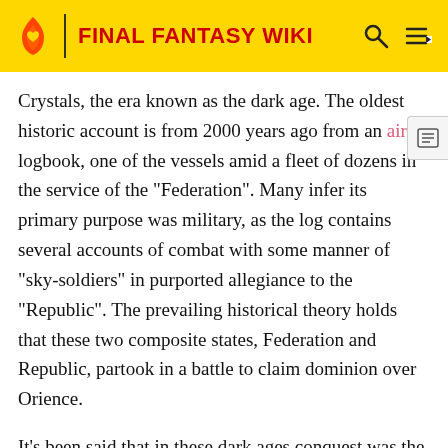FINAL FANTASY WIKI
Crystals, the era known as the dark age. The oldest historic account is from 2000 years ago from an airshi logbook, one of the vessels amid a fleet of dozens in the service of the "Federation". Many infer its primary purpose was military, as the log contains several accounts of combat with some manner of "sky-soldiers" in purported allegiance to the "Republic". The prevailing historical theory holds that these two composite states, Federation and Republic, partook in a battle to claim dominion over Orience.
It's been said that in these dark ages conquest was the only law, and the four sovereign nations each took it upon to create the mightiest army and waged the war to end all wars—the Ultima War.